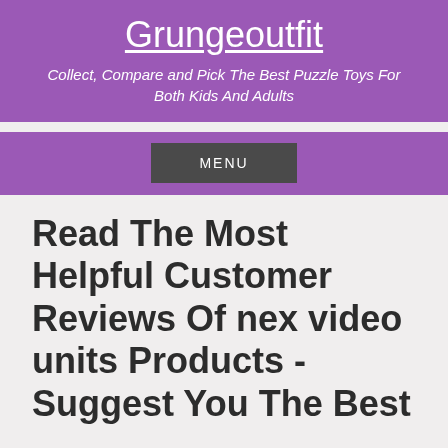Grungeoutfit
Collect, Compare and Pick The Best Puzzle Toys For Both Kids And Adults
MENU
Read The Most Helpful Customer Reviews Of nex video units Products - Suggest You The Best
It can be hard to know which product is the best nex video units for you, but with a little research, you can find the perfect item for your needs. Here are some tips to help you select the